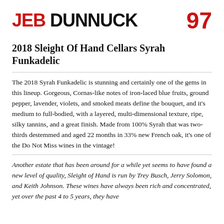JEB DUNNUCK  97
2018 Sleight Of Hand Cellars Syrah Funkadelic
The 2018 Syrah Funkadelic is stunning and certainly one of the gems in this lineup. Gorgeous, Cornas-like notes of iron-laced blue fruits, ground pepper, lavender, violets, and smoked meats define the bouquet, and it's medium to full-bodied, with a layered, multi-dimensional texture, ripe, silky tannins, and a great finish. Made from 100% Syrah that was two-thirds destemmed and aged 22 months in 33% new French oak, it's one of the Do Not Miss wines in the vintage!
Another estate that has been around for a while yet seems to have found a new level of quality, Sleight of Hand is run by Trey Busch, Jerry Solomon, and Keith Johnson. These wines have always been rich and concentrated, yet over the past 4 to 5 years, they have